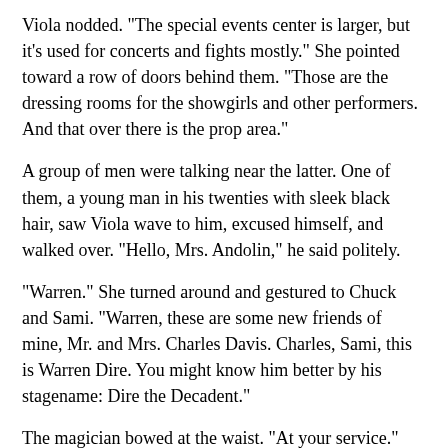Viola nodded. "The special events center is larger, but it's used for concerts and fights mostly." She pointed toward a row of doors behind them. "Those are the dressing rooms for the showgirls and other performers. And that over there is the prop area."
A group of men were talking near the latter. One of them, a young man in his twenties with sleek black hair, saw Viola wave to him, excused himself, and walked over. "Hello, Mrs. Andolin," he said politely.
"Warren." She turned around and gestured to Chuck and Sami. "Warren, these are some new friends of mine, Mr. and Mrs. Charles Davis. Charles, Sami, this is Warren Dire. You might know him better by his stagename: Dire the Decadent."
The magician bowed at the waist. "At your service."
Sami was flustered. Chuck shook Dire's hand. "It's great to meet you. My wife and I saw your show in Portland, Oregon about two years ago. You're fantastic!"
"I'm glad you liked it. What trick did I do?" He shook Sami's hand, and his fingers lingered a moment in hers. He was very handsome. Her pulse sped up about twenty beats a minute.
"The Whirlwind of Death." Sami remembered. Dire had climbed